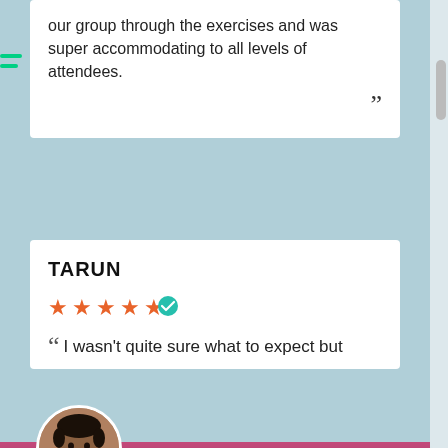our group through the exercises and was super accommodating to all levels of attendees.
TARUN
[Figure (infographic): 5-star rating row with orange stars and a teal verified badge]
“ I wasn't quite sure what to expect but
[Figure (infographic): Chat popup with avatar of Joshie from WeGym, away message, and reply input field]
Joshie from WeGym
Hey 💬 we're away right now - either asleep, squatting, at a pub or eating something tasty :) Please leave us a message and we’ll get back to you soon!
Reply to Joshie
Chat ⚡ by Drift